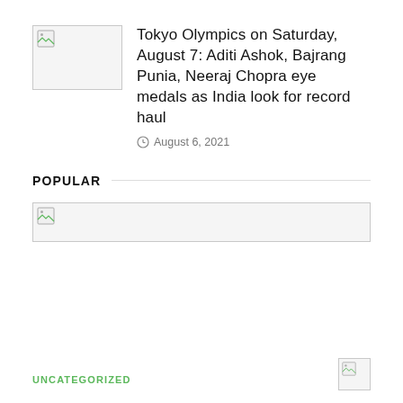[Figure (photo): Broken image thumbnail placeholder for article]
Tokyo Olympics on Saturday, August 7: Aditi Ashok, Bajrang Punia, Neeraj Chopra eye medals as India look for record haul
August 6, 2021
POPULAR
[Figure (photo): Broken image placeholder for popular article]
UNCATEGORIZED